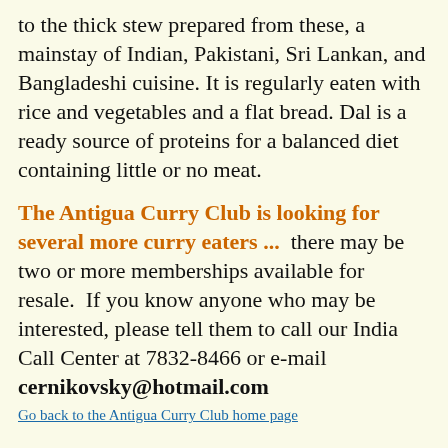to the thick stew prepared from these, a mainstay of Indian, Pakistani, Sri Lankan, and Bangladeshi cuisine. It is regularly eaten with rice and vegetables and a flat bread. Dal is a ready source of proteins for a balanced diet containing little or no meat.
The Antigua Curry Club is looking for several more curry eaters ... there may be two or more memberships available for resale. If you know anyone who may be interested, please tell them to call our India Call Center at 7832-8466 or e-mail cernikovsky@hotmail.com
Go back to the Antigua Curry Club home page